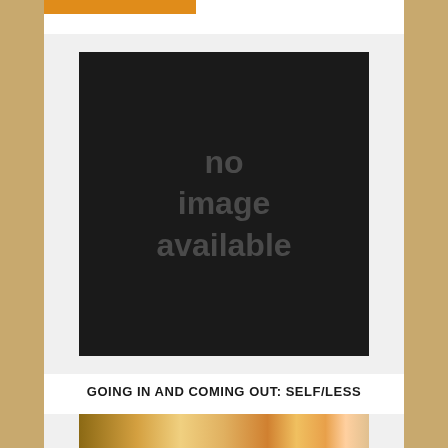[Figure (photo): Black placeholder image with text 'no image available' displayed in dark gray]
GOING IN AND COMING OUT: SELF/LESS
[Figure (photo): Partial photo showing stuffed animals and colorful items at what appears to be a market or store]